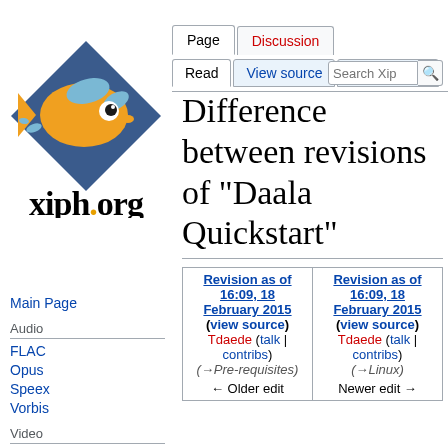Log in
[Figure (logo): xiph.org logo: goldfish inside a blue diamond shape with xiph.org text below]
Main Page
Audio
FLAC
Opus
Speex
Vorbis
Video
Daala
Dirac
Theora
Text
Difference between revisions of "Daala Quickstart"
| Revision as of 16:09, 18 February 2015 (view source) | Revision as of 16:09, 18 February 2015 (view source) |
| --- | --- |
| Tdaede (talk | contribs) | Tdaede (talk | contribs) |
| (→Pre-requisites) | (→Linux) |
| ← Older edit | Newer edit → |